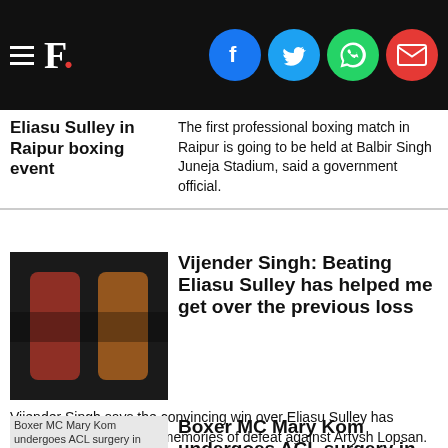F. [Firstpost logo with social share icons: Facebook, Twitter, WhatsApp, Email]
Eliasu Sulley in Raipur boxing event
The first professional boxing match in Raipur is going to be held at Balbir Singh Juneja Stadium, said a government official.
[Figure (photo): Two boxers fighting in the ring, one wearing red gloves]
Vijender Singh: Beating Eliasu Sulley has helped me get over the previous loss
Vijender Singh says the convincing win over Eliasu Sulley has helped him exorcise the memories of defeat against Artysh Lopsan.
[Figure (photo): Boxer MC Mary Kom undergoes ACL surgery in Mumbai - placeholder image]
Boxer MC Mary Kom undergoes ACL surgery in Mumbai
MC Mary Kom had torn her ACL when she twisted her knee in the first few minutes of her 48kg bout during the the Commonwealth Games selection trials in June.